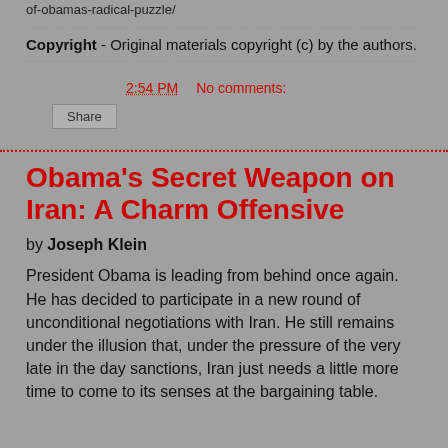of-obamas-radical-puzzle/
Copyright - Original materials copyright (c) by the authors.
2:54 PM   No comments:
Share
Obama's Secret Weapon on Iran: A Charm Offensive
by Joseph Klein
President Obama is leading from behind once again. He has decided to participate in a new round of unconditional negotiations with Iran. He still remains under the illusion that, under the pressure of the very late in the day sanctions, Iran just needs a little more time to come to its senses at the bargaining table.